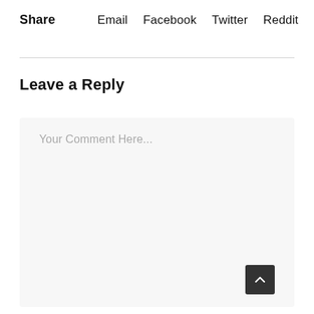Share   Email   Facebook   Twitter   Reddit   ♡0
Leave a Reply
Your Comment Here...